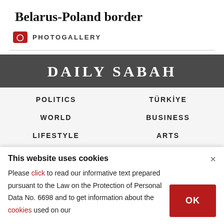Belarus-Poland border
PHOTOGALLERY
[Figure (logo): Daily Sabah logo in white text on dark grey background]
POLITICS
TÜRKİYE
WORLD
BUSINESS
LIFESTYLE
ARTS
This website uses cookies
Please click to read our informative text prepared pursuant to the Law on the Protection of Personal Data No. 6698 and to get information about the cookies used on our